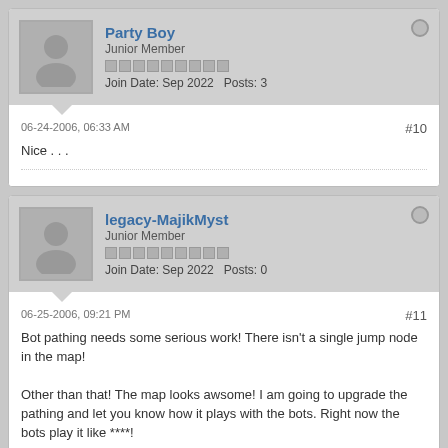Party Boy
Junior Member
Join Date: Sep 2022   Posts: 3
06-24-2006, 06:33 AM
#10
Nice . . .
legacy-MajikMyst
Junior Member
Join Date: Sep 2022   Posts: 0
06-25-2006, 09:21 PM
#11
Bot pathing needs some serious work! There isn't a single jump node in the map!

Other than that! The map looks awsome! I am going to upgrade the pathing and let you know how it plays with the bots. Right now the bots play it like ****!